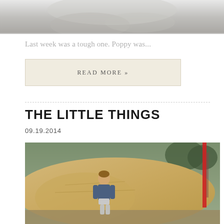[Figure (photo): Black and white photo of a person, partially cropped at top of page]
Last week was a tough one. Poppy was...
READ MORE »
THE LITTLE THINGS
09.19.2014
[Figure (photo): Color photo of a toddler in a denim jacket standing in front of large rocks at a playground, with playground equipment visible on the right]